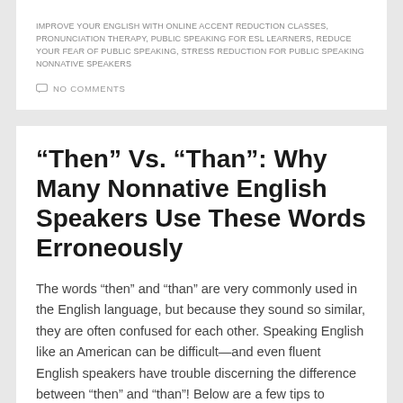IMPROVE YOUR ENGLISH WITH ONLINE ACCENT REDUCTION CLASSES, PRONUNCIATION THERAPY, PUBLIC SPEAKING FOR ESL LEARNERS, REDUCE YOUR FEAR OF PUBLIC SPEAKING, STRESS REDUCTION FOR PUBLIC SPEAKING NONNATIVE SPEAKERS
NO COMMENTS
“Then” Vs. “Than”: Why Many Nonnative English Speakers Use These Words Erroneously
The words “then” and “than” are very commonly used in the English language, but because they sound so similar, they are often confused for each other. Speaking English like an American can be difficult—and even fluent English speakers have trouble discerning the difference between “then” and “than”! Below are a few tips to understand when [...]